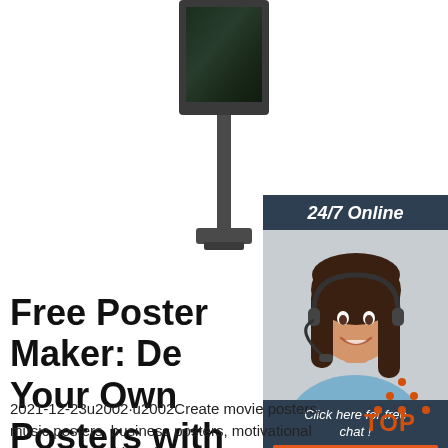[Figure (illustration): Digital signage display on a tall pole, with a dark screen showing aerial/forest imagery, mounted on a dark metal pole with a base]
[Figure (infographic): 24/7 online chat widget: dark blue top bar with '24/7 Online', photo of smiling woman with headset, dark blue bottom with 'Click here for free chat!', orange QUOTATION button]
Free Poster Maker: De... Your Own Posters with ... Online ...
[Figure (logo): TOP logo with orange dotted triangle/arrow above red-orange TOP text]
2021-12-23u2002·u2002Create movie posters, music posters, business posters, motivational posters, or anything else that captures your